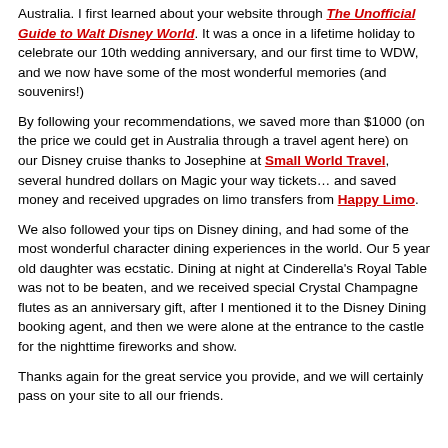Australia. I first learned about your website through The Unofficial Guide to Walt Disney World. It was a once in a lifetime holiday to celebrate our 10th wedding anniversary, and our first time to WDW, and we now have some of the most wonderful memories (and souvenirs!)
By following your recommendations, we saved more than $1000 (on the price we could get in Australia through a travel agent here) on our Disney cruise thanks to Josephine at Small World Travel, several hundred dollars on Magic your way tickets… and saved money and received upgrades on limo transfers from Happy Limo.
We also followed your tips on Disney dining, and had some of the most wonderful character dining experiences in the world. Our 5 year old daughter was ecstatic. Dining at night at Cinderella's Royal Table was not to be beaten, and we received special Crystal Champagne flutes as an anniversary gift, after I mentioned it to the Disney Dining booking agent, and then we were alone at the entrance to the castle for the nighttime fireworks and show.
Thanks again for the great service you provide, and we will certainly pass on your site to all our friends.